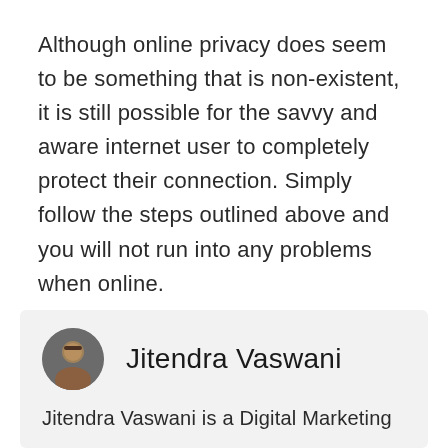Although online privacy does seem to be something that is non-existent, it is still possible for the savvy and aware internet user to completely protect their connection. Simply follow the steps outlined above and you will not run into any problems when online.
[Figure (photo): Circular profile photo of Jitendra Vaswani]
Jitendra Vaswani
Jitendra Vaswani is a Digital Marketing